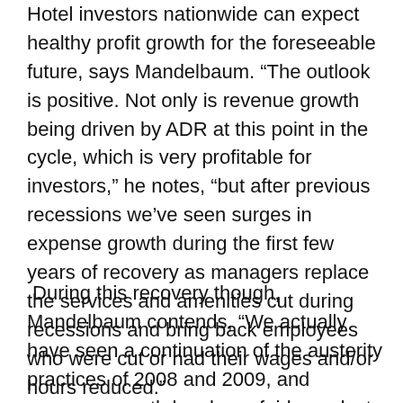Hotel investors nationwide can expect healthy profit growth for the foreseeable future, says Mandelbaum. “The outlook is positive. Not only is revenue growth being driven by ADR at this point in the cycle, which is very profitable for investors,” he notes, “but after previous recessions we’ve seen surges in expense growth during the first few years of recovery as managers replace the services and amenities cut during recessions and bring back employees who were cut or had their wages and/or hours reduced.”
During this recovery though, Mandelbaum contends, “We actually have seen a continuation of the austerity practices of 2008 and 2009, and expense growth has been fairly modest. It’s not surging like after past recessions, so there’s growth at the bottom line,” he says. “I think technology and efficient staffing are helping to perpetuate